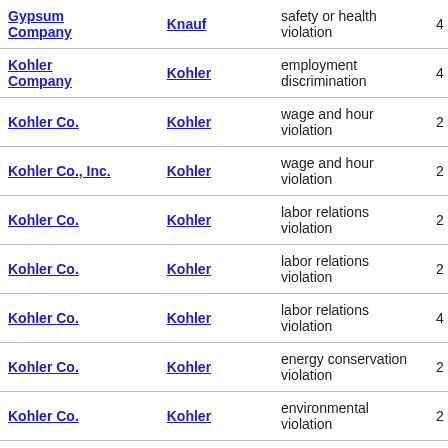| Company | Parent | Violation Type |  |
| --- | --- | --- | --- |
| Gypsum Company | Knauf | safety or health violation | 4 |
| Kohler Company | Kohler | employment discrimination | 4 |
| Kohler Co. | Kohler | wage and hour violation | 2 |
| Kohler Co., Inc. | Kohler | wage and hour violation | 2 |
| Kohler Co. | Kohler | labor relations violation | 2 |
| Kohler Co. | Kohler | labor relations violation | 2 |
| Kohler Co. | Kohler | labor relations violation | 4 |
| Kohler Co. | Kohler | energy conservation violation | 2 |
| Kohler Co. | Kohler | environmental violation | 2 |